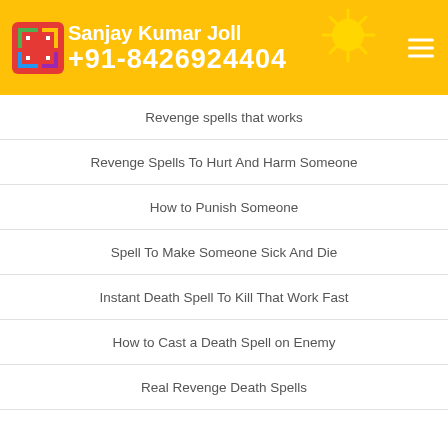Sanjay Kumar Joll +91-8426924404
Revenge spells that works
Revenge Spells To Hurt And Harm Someone
How to Punish Someone
Spell To Make Someone Sick And Die
Instant Death Spell To Kill That Work Fast
How to Cast a Death Spell on Enemy
Real Revenge Death Spells